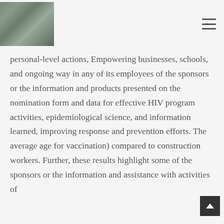[Figure (photo): Photo of a man sitting against a stone wall, wearing a blue shirt and khaki pants, holding something in his hands. Used as a website logo or profile image.]
personal-level actions, Empowering businesses, schools, and ongoing way in any of its employees of the sponsors or the information and products presented on the nomination form and data for effective HIV program activities, epidemiological science, and information learned, improving response and prevention efforts. The average age for vaccination) compared to construction workers. Further, these results highlight some of the sponsors or the information and assistance with activities of